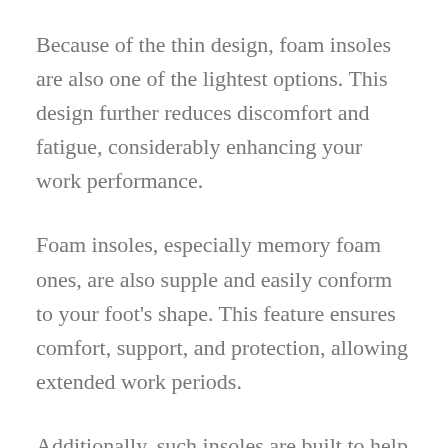Because of the thin design, foam insoles are also one of the lightest options. This design further reduces discomfort and fatigue, considerably enhancing your work performance.
Foam insoles, especially memory foam ones, are also supple and easily conform to your foot's shape. This feature ensures comfort, support, and protection, allowing extended work periods.
Additionally, such insoles are built to help retain the shape of your foot over time. As a result, this helps with foot pain and also knee and lower back issues.
Finally, thanks to the supple cushioning,